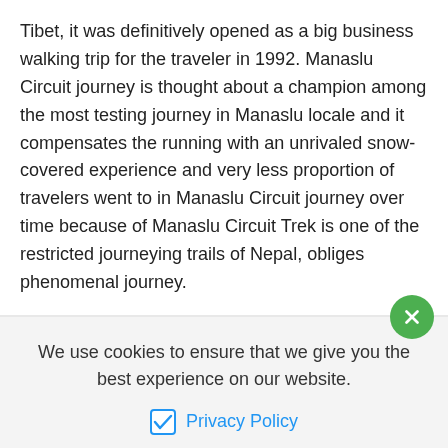Tibet, it was definitively opened as a big business walking trip for the traveler in 1992. Manaslu Circuit journey is thought about a champion among the most testing journey in Manaslu locale and it compensates the running with an unrivaled snow-covered experience and very less proportion of travelers went to in Manaslu Circuit journey over time because of Manaslu Circuit Trek is one of the restricted journeying trails of Nepal, obliges phenomenal journey.
We use cookies to ensure that we give you the best experience on our website.
Privacy Policy
Allow Cookies